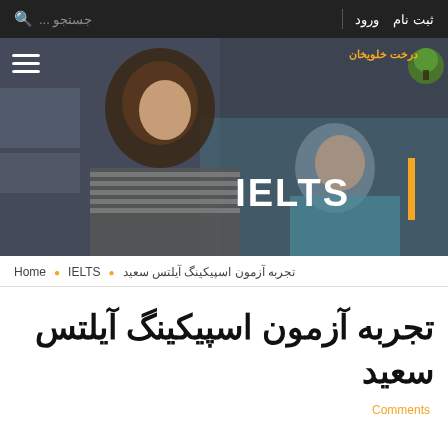ثبت نام  ورود | جستجو ...
[Figure (photo): Hero banner image showing students in a classroom setting, with IELTS text overlay and orange vertical bar. Logo with tree icon and Persian text in top right.]
Home • IELTS • تجربه آزمون اسپیکینگ آیلتس سعید
تجربه آزمون اسپیکینگ آیلتس سعید
Comments